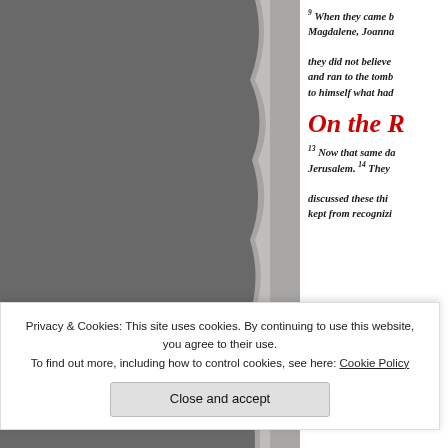[Figure (photo): Dark greyish torn-edge photo or illustration occupying the left portion of the page]
9 When they came b… Magdalene, Joanna… they did not believe… and ran to the tomb… to himself what had…
On the R
13 Now that same da… Jerusalem. 14 They… discussed these thi… kept from recognizi…
Privacy & Cookies: This site uses cookies. By continuing to use this website, you agree to their use.
To find out more, including how to control cookies, see here: Cookie Policy
Close and accept